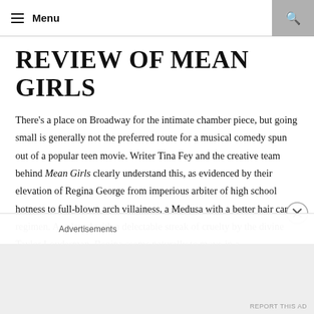Menu
REVIEW OF MEAN GIRLS
There's a place on Broadway for the intimate chamber piece, but going small is generally not the preferred route for a musical comedy spun out of a popular teen movie. Writer Tina Fey and the creative team behind Mean Girls clearly understand this, as evidenced by their elevation of Regina George from imperious arbiter of high school hotness to full-blown arch villainess, a Medusa with a better hair care regimen. As played with a delectable streak of cruelty by the divine Taylor Louderman, Regina seems naturally to move in a
Advertisements